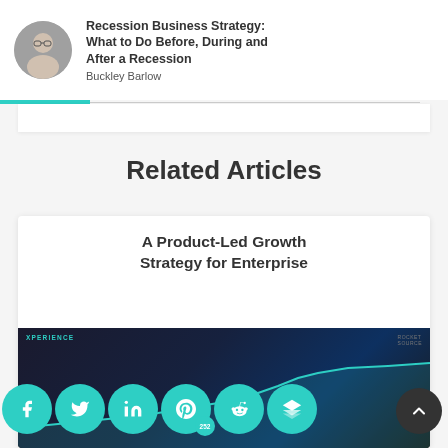Recession Business Strategy: What to Do Before, During and After a Recession
Buckley Barlow
Related Articles
A Product-Led Growth Strategy for Enterprise
[Figure (screenshot): Dark themed article thumbnail showing 'XPERIENCE' label and a financial/growth chart with teal line graph on dark background]
[Figure (infographic): Social share buttons: Facebook, Twitter, LinkedIn, Pinterest (252), Reddit, Buffer/Layers. Plus a dark scroll-to-top button.]